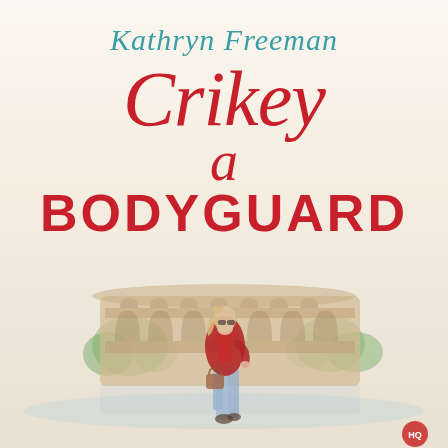Kathryn Freeman
Crikey a BODYGUARD
[Figure (illustration): Illustrated book cover showing a stylish blonde woman in a red jacket and jeans carrying a handbag, standing in front of a watercolor-style depiction of the Roman Colosseum with trees and a reflective water surface. A small circular logo appears at the bottom right.]